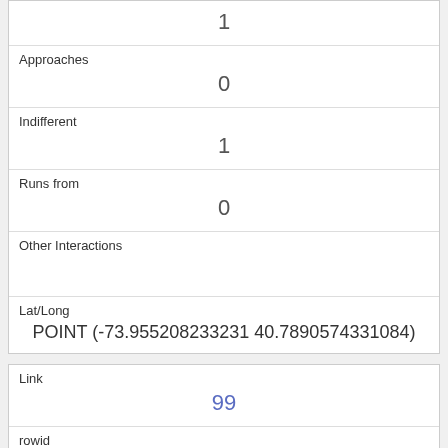| Field | Value |
| --- | --- |
|  | 1 |
| Approaches | 0 |
| Indifferent | 1 |
| Runs from | 0 |
| Other Interactions |  |
| Lat/Long | POINT (-73.955208233231 40.7890574331084) |
| Field | Value |
| --- | --- |
| Link | 99 |
| rowid | 99 |
| longitude | -73.9710541405708 |
| latitude | 40.772469160571795 |
| Unique Squirrel ID |  |